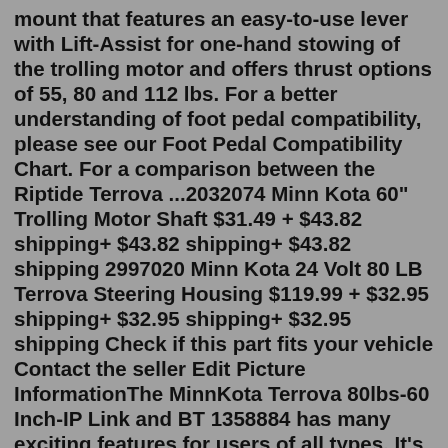mount that features an easy-to-use lever with Lift-Assist for one-hand stowing of the trolling motor and offers thrust options of 55, 80 and 112 lbs. For a better understanding of foot pedal compatibility, please see our Foot Pedal Compatibility Chart. For a comparison between the Riptide Terrova ...2032074 Minn Kota 60" Trolling Motor Shaft $31.49 + $43.82 shipping+ $43.82 shipping+ $43.82 shipping 2997020 Minn Kota 24 Volt 80 LB Terrova Steering Housing $119.99 + $32.95 shipping+ $32.95 shipping+ $32.95 shipping Check if this part fits your vehicle Contact the seller Edit Picture InformationThe MinnKota Terrova 80lbs-60 Inch-IP Link and BT 1358884 has many exciting features for users of all types. It's one of FactoryOutletStore's best selling Minn Kota Trolling Motors. You can extend the lifetime of your MinnKota Terrova 80lbs-60 Inch-IP Link and BT 1358884 with the purchase of a FactoryOutletStore Factory Protection Plan. 2032074 Minn Kota 60" Trolling Motor Shaft $31.49 + $43.82 shipping+ $43.82 shipping+ $43.82 shipping 2997020 Minn Ko